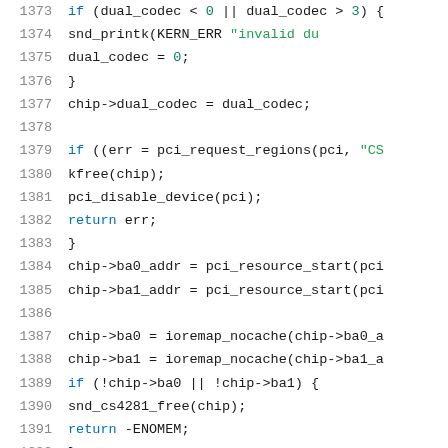[Figure (screenshot): Source code listing in C, lines 1373-1394, showing kernel driver code with syntax highlighting. Blue keywords (if, return), green strings and numbers, monospace font on white background.]